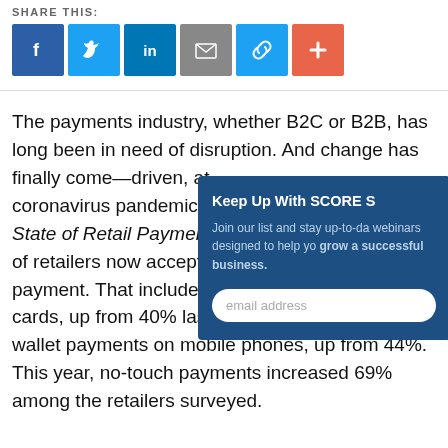SHARE THIS:
[Figure (other): Social share buttons: Facebook, Twitter, LinkedIn, Email, Link, Plus]
The payments industry, whether B2C or B2B, has long been in need of disruption. And change has finally come—driven, at coronavirus pandemic. C State of Retail Payments of retailers now accept s payment. That includes cards, up from 40% last wallet payments on mobile phones, up from 44%. This year, no-touch payments increased 69% among the retailers surveyed.
Keep Up With SCORE S
Join our list and stay up-to-da webinars designed to help yo grow a successful business.
email address